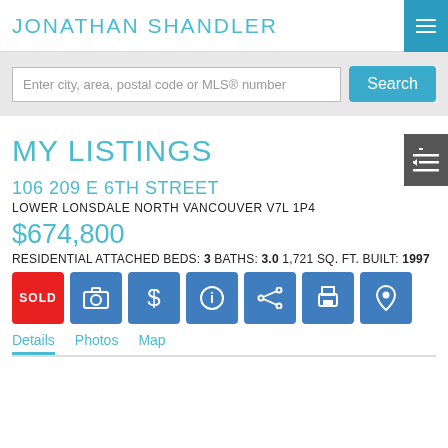JONATHAN SHANDLER
Enter city, area, postal code or MLS® number
MY LISTINGS
106 209 E 6TH STREET
LOWER LONSDALE NORTH VANCOUVER V7L 1P4
$674,800
RESIDENTIAL ATTACHED BEDS: 3 BATHS: 3.0 1,721 SQ. FT. BUILT: 1997
SOLD
Details  Photos  Map